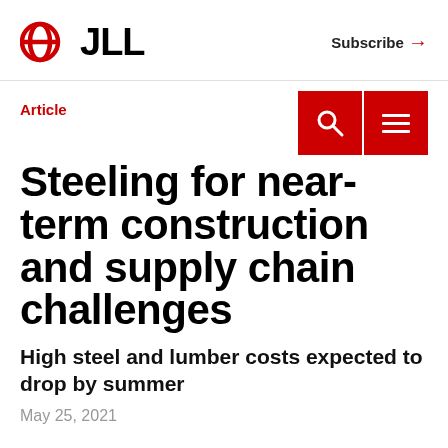JLL | Subscribe →
Article
Steeling for near-term construction and supply chain challenges
High steel and lumber costs expected to drop by summer
May 25, 2021